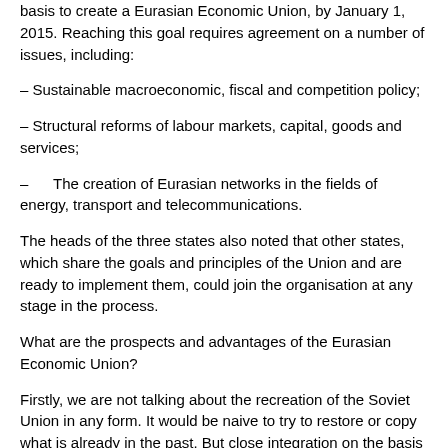basis to create a Eurasian Economic Union, by January 1, 2015. Reaching this goal requires agreement on a number of issues, including:
– Sustainable macroeconomic, fiscal and competition policy;
– Structural reforms of labour markets, capital, goods and services;
–      The creation of Eurasian networks in the fields of energy, transport and telecommunications.
The heads of the three states also noted that other states, which share the goals and principles of the Union and are ready to implement them, could join the organisation at any stage in the process.
What are the prospects and advantages of the Eurasian Economic Union?
Firstly, we are not talking about the recreation of the Soviet Union in any form. It would be naive to try to restore or copy what is already in the past. But close integration on the basis of our new economic values is imperative.